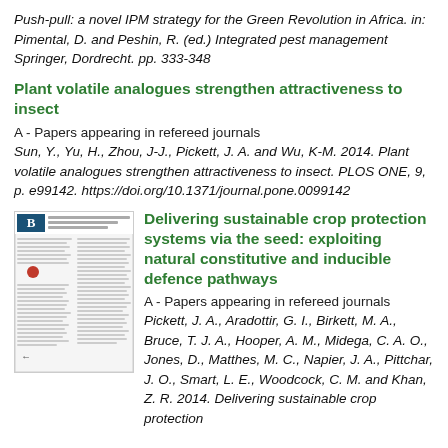Push-pull: a novel IPM strategy for the Green Revolution in Africa. in: Pimental, D. and Peshin, R. (ed.) Integrated pest management Springer, Dordrecht. pp. 333-348
Plant volatile analogues strengthen attractiveness to insect
A - Papers appearing in refereed journals
Sun, Y., Yu, H., Zhou, J-J., Pickett, J. A. and Wu, K-M. 2014. Plant volatile analogues strengthen attractiveness to insect. PLOS ONE, 9, p. e99142. https://doi.org/10.1371/journal.pone.0099142
[Figure (photo): Thumbnail image of a journal article page from a scientific publication, showing article header with a 'B' logo and text content.]
Delivering sustainable crop protection systems via the seed: exploiting natural constitutive and inducible defence pathways
A - Papers appearing in refereed journals
Pickett, J. A., Aradottir, G. I., Birkett, M. A., Bruce, T. J. A., Hooper, A. M., Midega, C. A. O., Jones, D., Matthes, M. C., Napier, J. A., Pittchar, J. O., Smart, L. E., Woodcock, C. M. and Khan, Z. R. 2014. Delivering sustainable crop protection